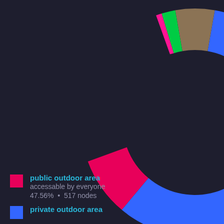[Figure (donut-chart): Outdoor area accessibility]
public outdoor area
accessable by everyone
47.56%  •  517 nodes
private outdoor area